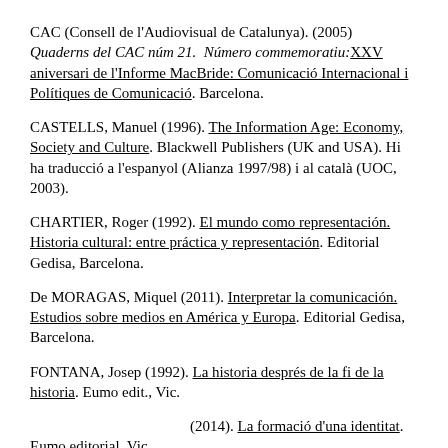CAC (Consell de l'Audiovisual de Catalunya). (2005) Quaderns del CAC núm 21.  Número commemoratiu: XXV aniversari de l'Informe MacBride: Comunicació Internacional i Polítiques de Comunicació. Barcelona.
CASTELLS, Manuel (1996). The Information Age: Economy, Society and Culture. Blackwell Publishers (UK and USA). Hi ha traducció a l'espanyol (Alianza 1997/98) i al català (UOC, 2003).
CHARTIER, Roger (1992). El mundo como representación. Historia cultural: entre práctica y representación. Editorial Gedisa, Barcelona.
De MORAGAS, Miquel (2011). Interpretar la comunicación. Estudios sobre medios en América y Europa. Editorial Gedisa, Barcelona.
FONTANA, Josep (1992). La historia després de la fi de la historia. Eumo edit., Vic.
(2014). La formació d'una identitat. Eumo editorial, Vic.
MARÍN, Enric & TRESSERRAS, J.M. (1994). Cultura de